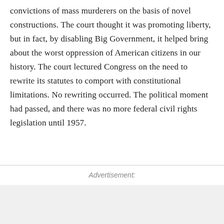convictions of mass murderers on the basis of novel constructions. The court thought it was promoting liberty, but in fact, by disabling Big Government, it helped bring about the worst oppression of American citizens in our history. The court lectured Congress on the need to rewrite its statutes to comport with constitutional limitations. No rewriting occurred. The political moment had passed, and there was no more federal civil rights legislation until 1957.
Advertisement: